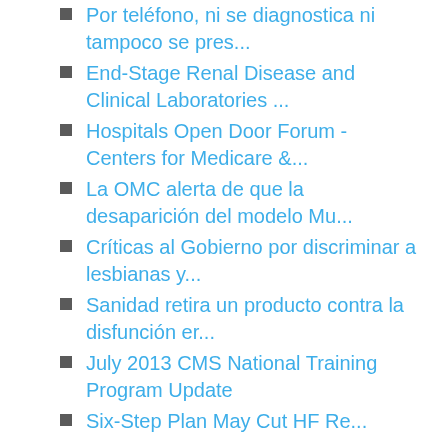Por teléfono, ni se diagnostica ni tampoco se pres...
End-Stage Renal Disease and Clinical Laboratories ...
Hospitals Open Door Forum - Centers for Medicare &...
La OMC alerta de que la desaparición del modelo Mu...
Críticas al Gobierno por discriminar a lesbianas y...
Sanidad retira un producto contra la disfunción er...
July 2013 CMS National Training Program Update
Six-Step Plan May Cut HF Re...